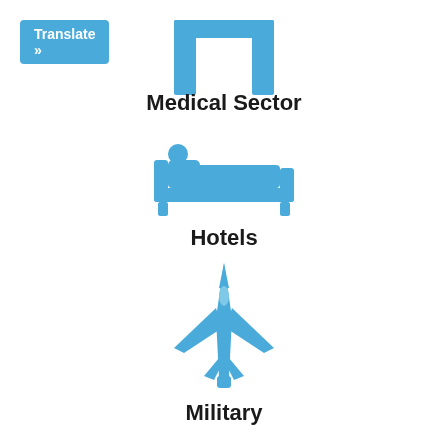[Figure (illustration): Blue 'Translate »' button in top left corner]
[Figure (illustration): Blue hospital/medical building icon at top center]
Medical Sector
[Figure (illustration): Blue hospital bed with patient icon]
Hotels
[Figure (illustration): Blue military jet aircraft icon]
Military